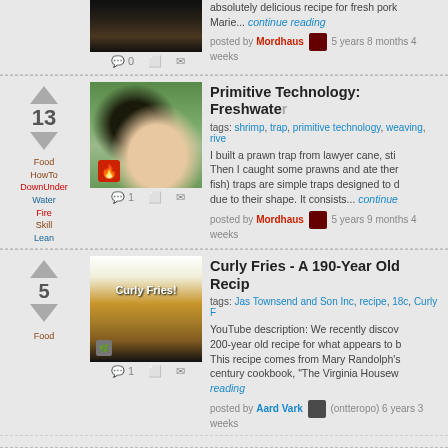[Figure (photo): Thumbnail image of snails/food, partial view at top]
absolutely delicious recipe for fresh pork Marie... continue reading
posted by Mordhaus 5 years 8 months 4 weeks
Primitive Technology: Freshwater
tags: shrimp, trap, primitive technology, weaving, rive
I built a prawn trap from lawyer cane, sti... Then I caught some prawns and ate them. fish) traps are simple traps designed to d due to their shape. It consists... continue
posted by Mordhaus 5 years 9 months 4 weeks
Curly Fries - A 190-Year Old Recip
tags: Jas Townsend and Son Inc, recipe, 18c, Curly F
YouTube description: We recently disco 200-year old recipe for what appears to b This recipe comes from Mary Randolph's century cookbook, "The Virginia Housew reading
posted by Aard Vark (ontteropo) 6 years 3 weeks